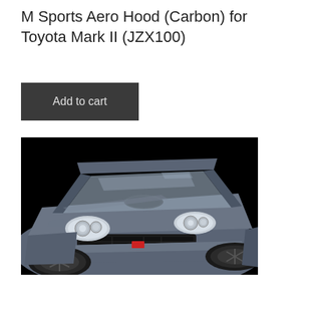M Sports Aero Hood (Carbon) for Toyota Mark II (JZX100)
Add to cart
[Figure (photo): Front three-quarter view of a dark blue/grey Toyota Mark II (JZX100) with M Sports Aero Hood (Carbon) installed, featuring a raised center hood scoop, aftermarket headlights, and dark alloy wheels, photographed against a black background.]